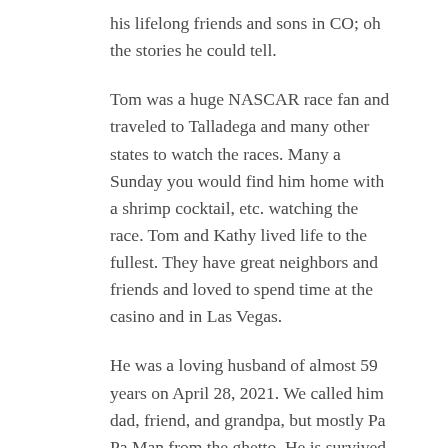his lifelong friends and sons in CO; oh the stories he could tell.
Tom was a huge NASCAR race fan and traveled to Talladega and many other states to watch the races. Many a Sunday you would find him home with a shrimp cocktail, etc. watching the race. Tom and Kathy lived life to the fullest. They have great neighbors and friends and loved to spend time at the casino and in Las Vegas.
He was a loving husband of almost 59 years on April 28, 2021. We called him dad, friend, and grandpa, but mostly Pa Pa Man from the ghetto. He is survived by his wife, Kathy, sons Michael (Janet) and Kevin (Heidi), three grandchildren, Mariah Kathleen, Travis Michael, and Mary Jane; sister, Elizabeth Axtman; and several nieces, nephews, and cousins. He will be truly missed by all who knew him, but mostly by his “partner in